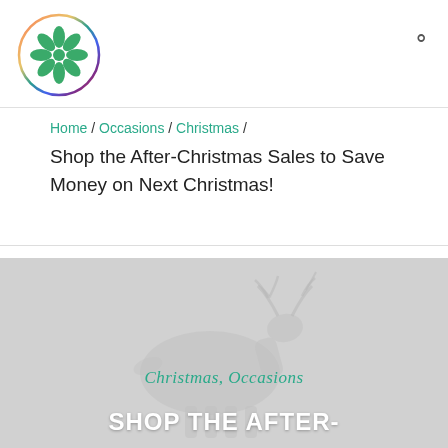[Figure (logo): Circular logo with green flower/leaf icon and multicolor circular border]
Home / Occasions / Christmas / Shop the After-Christmas Sales to Save Money on Next Christmas!
[Figure (photo): Grayscale hero image of reindeer silhouettes with overlay text 'Christmas, Occasions' and 'SHOP THE AFTER-']